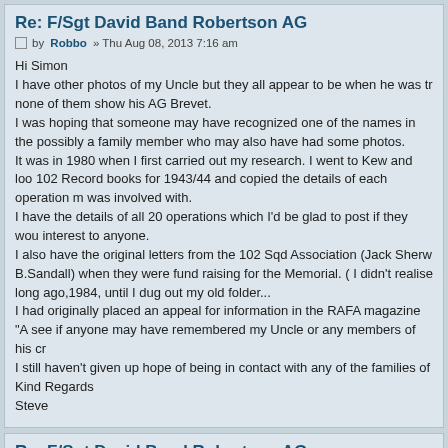Re: F/Sgt David Band Robertson AG
by Robbo » Thu Aug 08, 2013 7:16 am
Hi Simon
I have other photos of my Uncle but they all appear to be when he was tr none of them show his AG Brevet.
I was hoping that someone may have recognized one of the names in the possibly a family member who may also have had some photos.
It was in 1980 when I first carried out my research. I went to Kew and loo 102 Record books for 1943/44 and copied the details of each operation m was involved with.
I have the details of all 20 operations which I'd be glad to post if they wou interest to anyone.
I also have the original letters from the 102 Sqd Association (Jack Sherw B.Sandall) when they were fund raising for the Memorial. ( I didn't realise long ago,1984, until I dug out my old folder...
I had originally placed an appeal for information in the RAFA magazine "A see if anyone may have remembered my Uncle or any members of his cr
I still haven't given up hope of being in contact with any of the families of
Kind Regards
Steve
Re: F/Sgt David Band Robertson AG
by Neilw » Thu Aug 08, 2013 7:59 pm